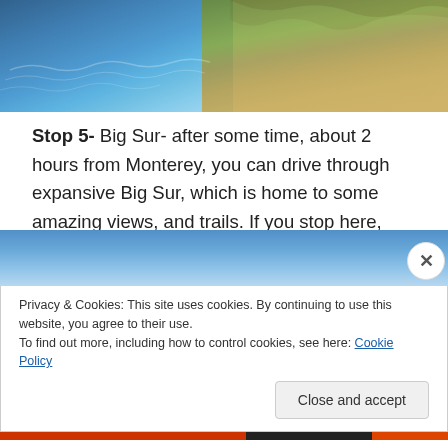[Figure (photo): Coastal California landscape showing blue ocean water on the left and dry brown/golden hillside on the right, viewed from an elevated vantage point. Partial photo strip at top of page.]
Stop 5- Big Sur- after some time, about 2 hours from Monterey, you can drive through expansive Big Sur, which is home to some amazing views, and trails. If you stop here, spend the night to ensure you don't have to drive in the dark. Once at Big Sur, you have to stay coastal to continue the drive, as there are limited roads.
Privacy & Cookies: This site uses cookies. By continuing to use this website, you agree to their use.
To find out more, including how to control cookies, see here: Cookie Policy
Close and accept